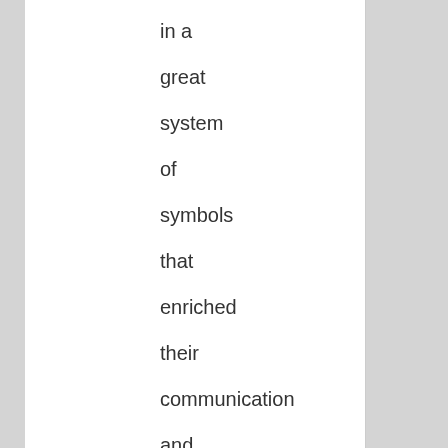in a great system of symbols that enriched their communication and their understanding of the world. Most of us are deaf to that system